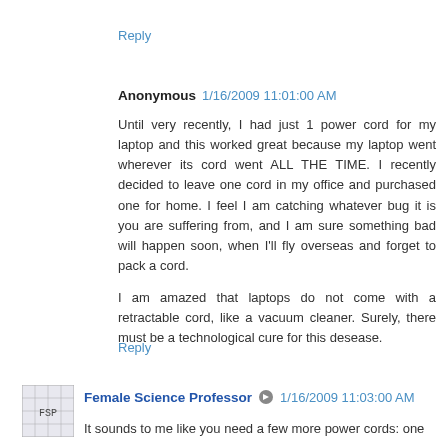Reply
Anonymous  1/16/2009 11:01:00 AM
Until very recently, I had just 1 power cord for my laptop and this worked great because my laptop went wherever its cord went ALL THE TIME. I recently decided to leave one cord in my office and purchased one for home. I feel I am catching whatever bug it is you are suffering from, and I am sure something bad will happen soon, when I'll fly overseas and forget to pack a cord.

I am amazed that laptops do not come with a retractable cord, like a vacuum cleaner. Surely, there must be a technological cure for this desease.
Reply
Female Science Professor  1/16/2009 11:03:00 AM
It sounds to me like you need a few more power cords: one